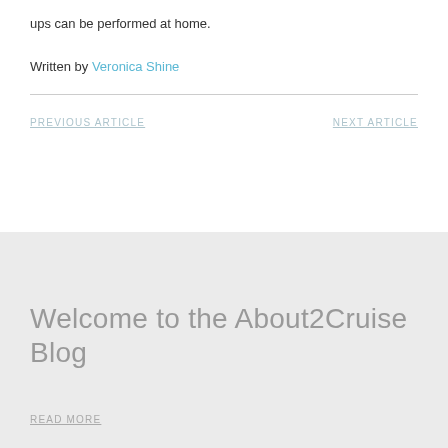ups can be performed at home.
Written by Veronica Shine
PREVIOUS ARTICLE
NEXT ARTICLE
Welcome to the About2Cruise Blog
READ MORE